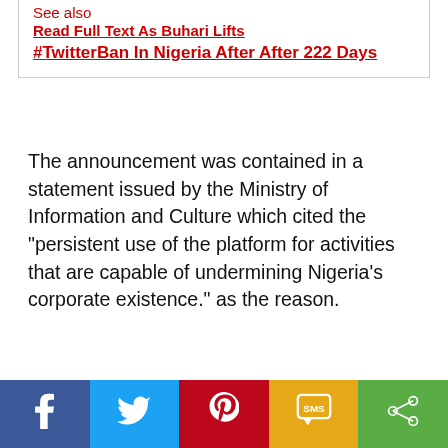See also Read Full Text As Buhari Lifts #TwitterBan In Nigeria After After 222 Days
The announcement was contained in a statement issued by the Ministry of Information and Culture which cited the “persistent use of the platform for activities that are capable of undermining Nigeria’s corporate existence.” as the reason.
[Figure (infographic): Social media share bar with Facebook (blue), Twitter (light blue), Pinterest (red), SMS (yellow/orange), and Share (green) buttons]